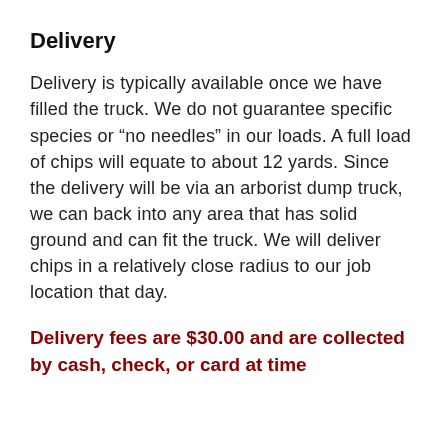Delivery
Delivery is typically available once we have filled the truck. We do not guarantee specific species or “no needles” in our loads. A full load of chips will equate to about 12 yards. Since the delivery will be via an arborist dump truck, we can back into any area that has solid ground and can fit the truck. We will deliver chips in a relatively close radius to our job location that day.
Delivery fees are $30.00 and are collected by cash, check, or card at time